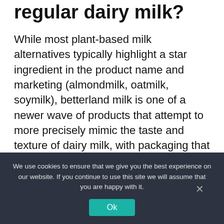regular dairy milk?
While most plant-based milk alternatives typically highlight a star ingredient in the product name and marketing (almondmilk, oatmilk, soymilk), betterland milk is one of a newer wave of products that attempt to more precisely mimic the taste and texture of dairy milk, with packaging that reflects a more generic ‘milk’ such as NotMilk from NotCo, or Silk NextMilkfrom Danone.
Unlike these two brands, however,
We use cookies to ensure that we give you the best experience on our website. If you continue to use this site we will assume that you are happy with it.